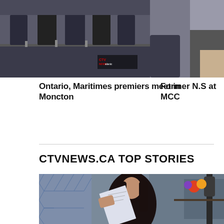[Figure (photo): Video thumbnail showing people seated at a table, likely a press conference or panel. CTV News Atlantic watermark visible. Blue play button triangle to the right.]
[Figure (photo): Partial thumbnail of a person on right side of the screen, cropped.]
Ontario, Maritimes premiers meet in Moncton
Former N.S at MCC
CTVNEWS.CA TOP STORIES
[Figure (photo): Woman with dark hair holding up a document/paper, sitting in a room with shelving and colorful decor visible in the background. Blue hexagonal pattern on the left side.]